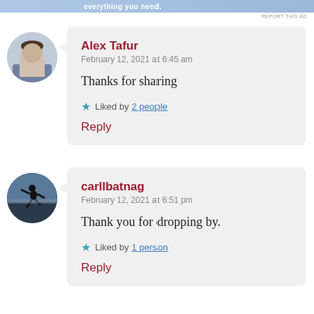[Figure (illustration): Ad banner at top with blue gradient background and text 'everything you need.']
REPORT THIS AD
[Figure (photo): Round avatar of Alex Tafur - a man in a suit jacket]
Alex Tafur
February 12, 2021 at 6:45 am

Thanks for sharing

★ Liked by 2 people

Reply
[Figure (photo): Round avatar of carllbatnag - silhouette of person jumping against sky]
carllbatnag
February 12, 2021 at 6:51 pm

Thank you for dropping by.

★ Liked by 1 person

Reply